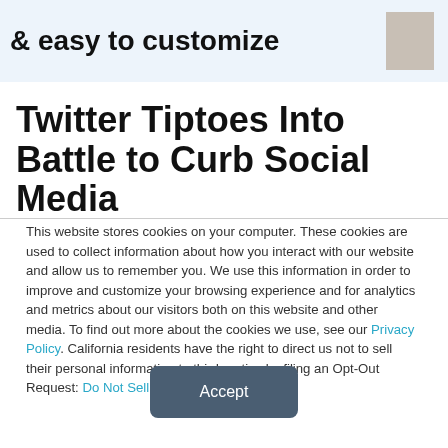& easy to customize
Twitter Tiptoes Into Battle to Curb Social Media
This website stores cookies on your computer. These cookies are used to collect information about how you interact with our website and allow us to remember you. We use this information in order to improve and customize your browsing experience and for analytics and metrics about our visitors both on this website and other media. To find out more about the cookies we use, see our Privacy Policy. California residents have the right to direct us not to sell their personal information to third parties by filing an Opt-Out Request: Do Not Sell My Personal Info.
Accept